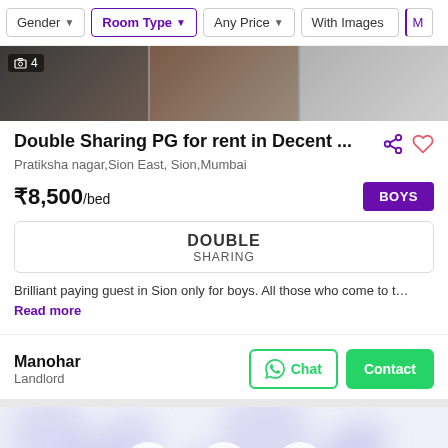Gender | Room Type | Any Price | With Images | Mo
[Figure (photo): Blurred interior room photo strip with image count badge showing 4]
Double Sharing PG for rent in Decent ...
Pratiksha nagar,Sion East, Sion,Mumbai
₹8,500/bed
DOUBLE SHARING
Brilliant paying guest in Sion only for boys. All those who come to t… Read more
Manohar
Landlord
Chat | Contact
[Figure (screenshot): Blurred bottom section with Sort, Saved, Filter navigation icons on a light purple background]